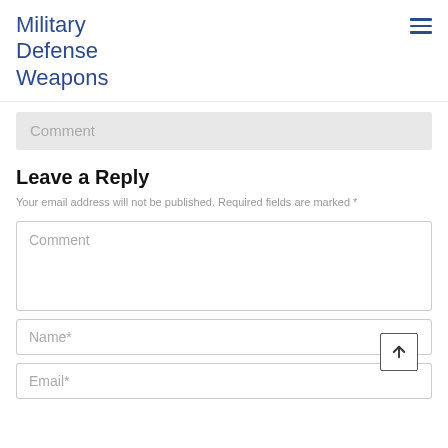Military Defense Weapons
Comment
Leave a Reply
Your email address will not be published. Required fields are marked *
Comment
Name*
Email*